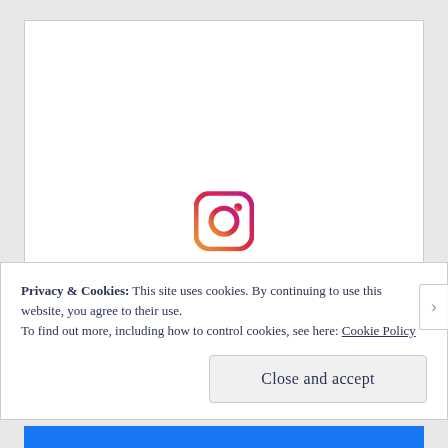[Figure (screenshot): White embedded content box with Instagram gradient logo centered, partially visible]
Privacy & Cookies: This site uses cookies. By continuing to use this website, you agree to their use.
To find out more, including how to control cookies, see here: Cookie Policy
Close and accept